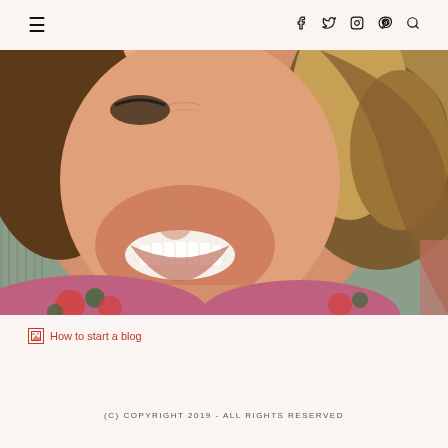☰  [nav icons: facebook, twitter, instagram, pinterest, search]
[Figure (photo): Close-up portrait of a smiling woman with long highlighted brown hair, wearing a floral patterned top, photographed against a wooden fence background.]
How to start a blog
(C) COPYRIGHT 2019 - ALL RIGHTS RESERVED